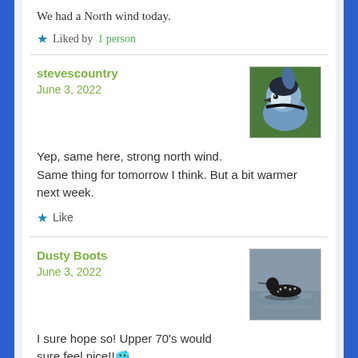We had a North wind today.
Liked by 1 person
stevescountry
June 3, 2022
[Figure (photo): Close-up photo of a blue jay bird]
Yep, same here, strong north wind. Same thing for tomorrow I think. But a bit warmer next week.
Like
Dusty Boots
June 3, 2022
[Figure (photo): Photo of a bird (loon) swimming on water]
I sure hope so! Upper 70's would sure feel nice!!🥶